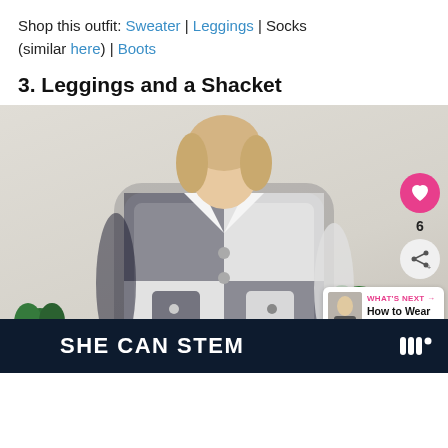Shop this outfit: Sweater | Leggings | Socks (similar here) | Boots
3. Leggings and a Shacket
[Figure (photo): Woman wearing a black and white plaid shacket over a white top, with green houseplants in the background. Social UI overlays including a heart button (6 likes), share button, and a 'What's Next' card showing 'How to Wear Ankle Boots...' are overlaid on the right side.]
SHE CAN STEM